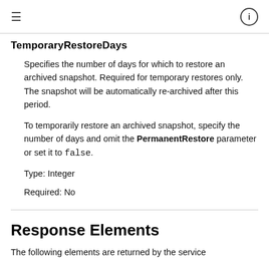≡  ⓘ
TemporaryRestoreDays
Specifies the number of days for which to temporarily restore an archived snapshot. Required for temporary restores only. The snapshot will be automatically re-archived after this period.
To temporarily restore an archived snapshot, specify the number of days and omit the PermanentRestore parameter or set it to false.
Type: Integer
Required: No
Response Elements
The following elements are returned by the service